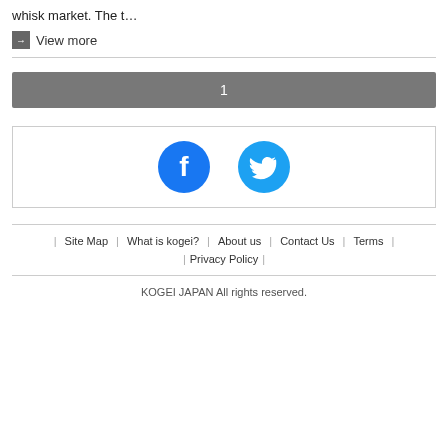whisk market. The t…
→ View more
1
[Figure (other): Social media icons: Facebook (blue circle with white f) and Twitter (light blue circle with white bird)]
Site Map | What is kogei? | About us | Contact Us | Terms | Privacy Policy
KOGEI JAPAN All rights reserved.